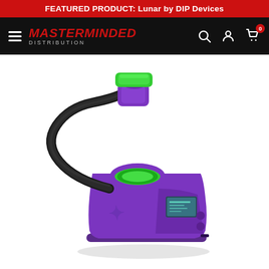FEATURED PRODUCT: Lunar by DIP Devices
[Figure (screenshot): Masterminded Distribution website navigation bar with hamburger menu icon, brand logo in red italic text with DISTRIBUTION subtitle, and search, account, and cart icons on the right. Cart shows badge with 0.]
[Figure (photo): Product photo of the Lunar by DIP Devices vaporizer in purple and green colorway. The device has a purple body with a green-lit chamber on top, a black flexible hose/neck that curves upward to a purple attachment piece with a bright green top mouthpiece cap. The main unit has a small digital LCD display screen and buttons on the side. The device sits on a white background.]